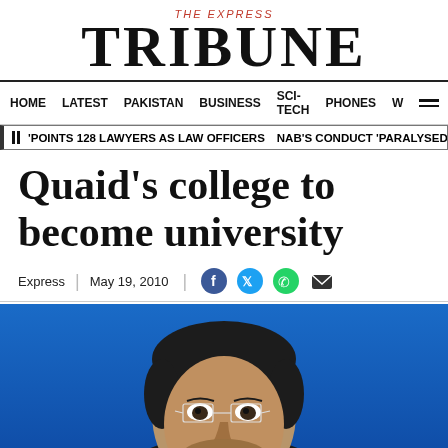THE EXPRESS TRIBUNE
HOME  LATEST  PAKISTAN  BUSINESS  SCI-TECH  PHONES  W
POINTS 128 LAWYERS AS LAW OFFICERS  NAB'S CONDUCT 'PARALYSED' GOVT MA
Quaid's college to become university
Express | May 19, 2010
[Figure (photo): Close-up photo of a man wearing thin-framed glasses against a blue background, cropped to show face and upper body]